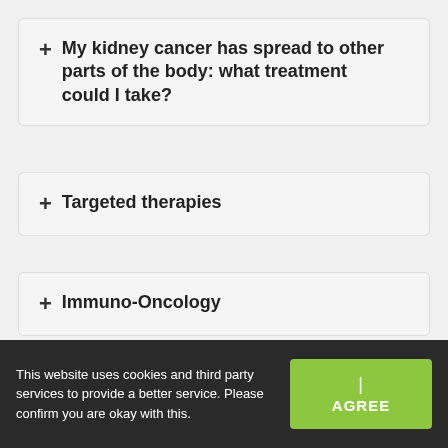+ My kidney cancer has spread to other parts of the body: what treatment could I take?
+ Targeted therapies
+ Immuno-Oncology
+ Treatment options in brain metastases in kidney cancer
This website uses cookies and third party services to provide a better service. Please confirm you are okay with this.
I AGREE